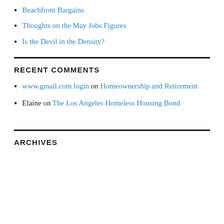Beachfront Bargains
Thoughts on the May Jobs Figures
Is the Devil in the Density?
RECENT COMMENTS
www.gmail.com login on Homeownership and Retirement
Elaine on The Los Angeles Homeless Housing Bond
ARCHIVES